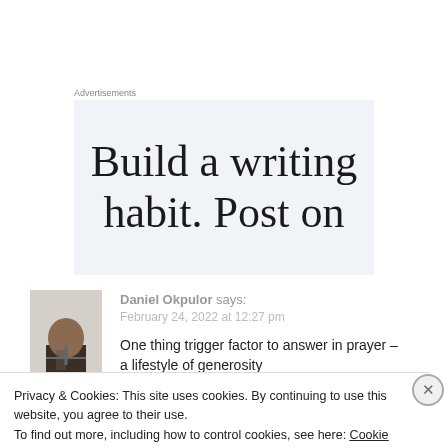Advertisements
[Figure (other): Advertisement banner with text 'Build a writing habit. Post on']
Daniel Okpulor says:
February 24, 2022 at 12:27 pm
One thing trigger factor to answer in prayer – a lifestyle of generosity
Privacy & Cookies: This site uses cookies. By continuing to use this website, you agree to their use.
To find out more, including how to control cookies, see here: Cookie Policy
Close and accept